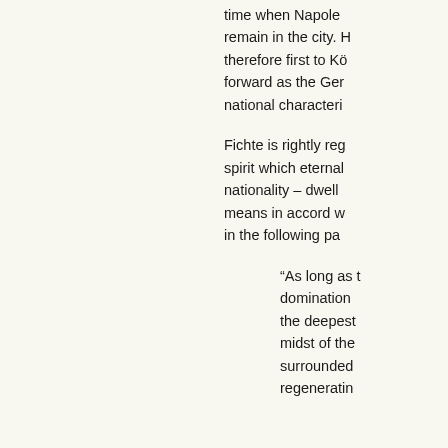time when Napoleon... remain in the city. H... therefore first to Kö... forward as the Ger... national characteri...
Fichte is rightly reg... spirit which eternal... nationality – dwell... means in accord w... in the following pa...
“As long as t... domination... the deepest... midst of the... surrounded... regeneratin...